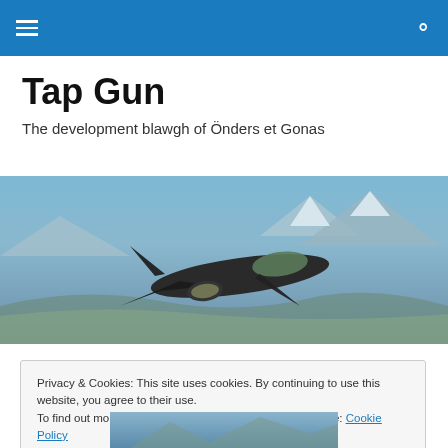Navigation bar with hamburger menu and search icon
Tap Gun
The development blawgh of Önders et Gonas
[Figure (photo): Military fighter jet flying over mountainous snowy terrain with blue sky]
Privacy & Cookies: This site uses cookies. By continuing to use this website, you agree to their use.
To find out more, including how to control cookies, see here: Cookie Policy
Close and accept
[Figure (photo): Partial image visible at bottom of page, appears to be another aerial/landscape photo]